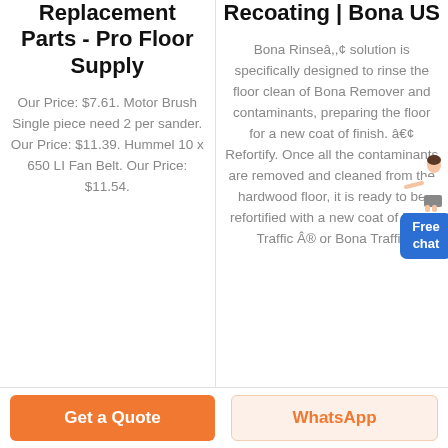Replacement Parts - Pro Floor Supply
Our Price: $7.61. Motor Brush Single piece need 2 per sander. Our Price: $11.39. Hummel 10 x 650 LI Fan Belt. Our Price: $11.54.
Recoating | Bona US
Bona Rinseâ‚¬ solution is specifically designed to rinse the floor clean of Bona Remover and contaminants, preparing the floor for a new coat of finish. â€¢ Refortify. Once all the contaminants are removed and cleaned from the hardwood floor, it is ready to be refortified with a new coat of Bona Traffic Â® or Bona Traffic
[Figure (illustration): Free chat widget with a person illustration and blue button saying Free chat]
Get a Quote
WhatsApp